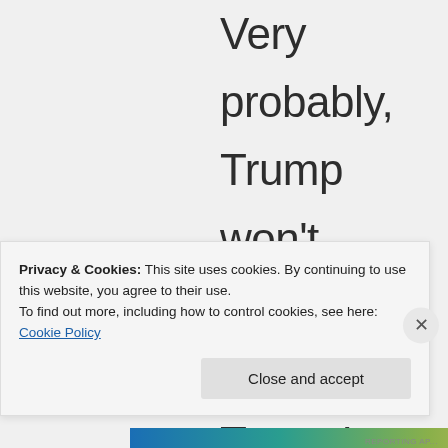Very probably, Trump won't have his 'Puerto Trump'
Privacy & Cookies: This site uses cookies. By continuing to use this website, you agree to their use.
To find out more, including how to control cookies, see here: Cookie Policy
Close and accept